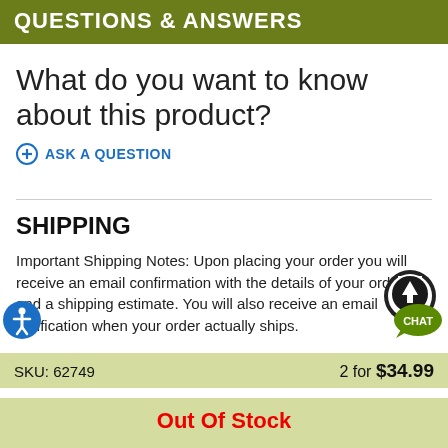QUESTIONS & ANSWERS
What do you want to know about this product?
⊕ ASK A QUESTION
SHIPPING
Important Shipping Notes: Upon placing your order you will receive an email confirmation with the details of your order and a shipping estimate. You will also receive an email notification when your order actually ships.
SKU: 62749    2 for $34.99
Out Of Stock